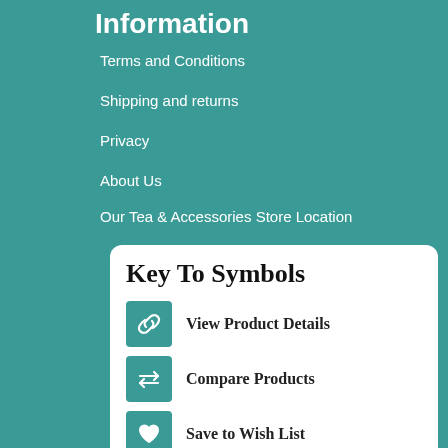Information
Terms and Conditions
Shipping and returns
Privacy
About Us
Our Tea & Accessories Store Location
Gift Voucher FAQ
Contact Us
[Figure (infographic): Key To Symbols card with icons for View Product Details (link icon), Compare Products (arrows icon), and Save to Wish List (heart icon), all on teal square backgrounds]